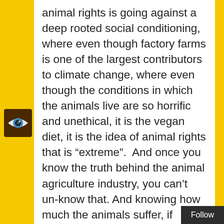animal rights is going against a deep rooted social conditioning, where even though factory farms is one of the largest contributors to climate change, where even though the conditions in which the animals live are so horrific and unethical, it is the vegan diet, it is the idea of animal rights that is “extreme”.  And once you know the truth behind the animal agriculture industry, you can’t un-know that. And knowing how much the animals suffer, if people don’t take proper self care (which is not always promoted in the movement. “The killing doesn’t take a break, so either will we!”), it can all get t…
[Figure (logo): An eye icon in a dark brown square, styled like a logo or avatar]